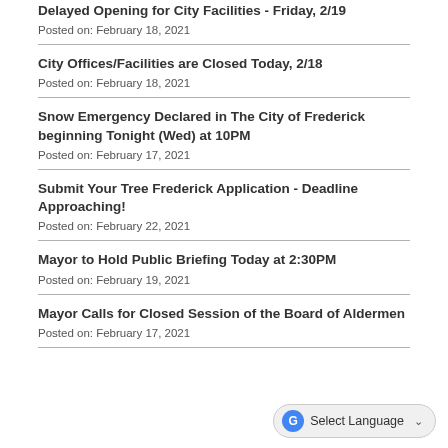Delayed Opening for City Facilities - Friday, 2/19
Posted on: February 18, 2021
City Offices/Facilities are Closed Today, 2/18
Posted on: February 18, 2021
Snow Emergency Declared in The City of Frederick beginning Tonight (Wed) at 10PM
Posted on: February 17, 2021
Submit Your Tree Frederick Application - Deadline Approaching!
Posted on: February 22, 2021
Mayor to Hold Public Briefing Today at 2:30PM
Posted on: February 19, 2021
Mayor Calls for Closed Session of the Board of Aldermen
Posted on: February 17, 2021